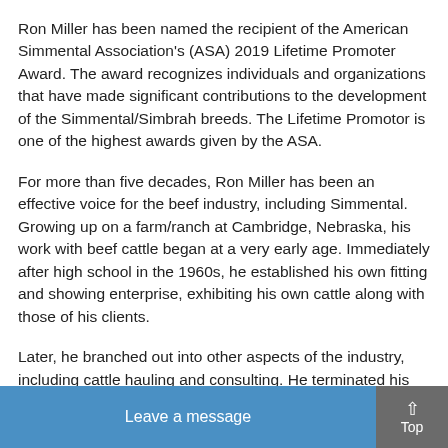Ron Miller has been named the recipient of the American Simmental Association's (ASA) 2019 Lifetime Promoter Award. The award recognizes individuals and organizations that have made significant contributions to the development of the Simmental/Simbrah breeds. The Lifetime Promotor is one of the highest awards given by the ASA.
For more than five decades, Ron Miller has been an effective voice for the beef industry, including Simmental. Growing up on a farm/ranch at Cambridge, Nebraska, his work with beef cattle began at a very early age. Immediately after high school in the 1960s, he established his own fitting and showing enterprise, exhibiting his own cattle along with those of his clients.
Later, he branched out into other aspects of the industry, including cattle hauling and consulting. He terminated his trucking career almost 25 years ago, but not before he transported cattle into every state in the continental US and most Canadian provinces. He has consulted on hundreds of sales across many breeds and offered his assistance and expertise to ensure the smooth running of countless local, state and national livestock expositions, including the renowned National Western in Denver and the American R... in Kansas City.